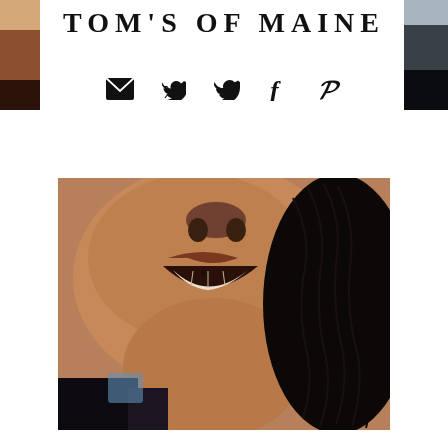[Figure (photo): Left edge strip showing partial face/shoulder photo in warm tones]
[Figure (logo): Tom's of Maine brand logo text in large bold serif uppercase letters with wide letter spacing]
[Figure (infographic): Row of social media icons: envelope/email, Twitter bird, Facebook f, Pinterest p]
[Figure (photo): Right edge strip showing partial dark/night scene photo]
[Figure (photo): Close-up photo of a smiling Black woman with natural braided locs, showing her smile and teeth, cropped from nose to neck]